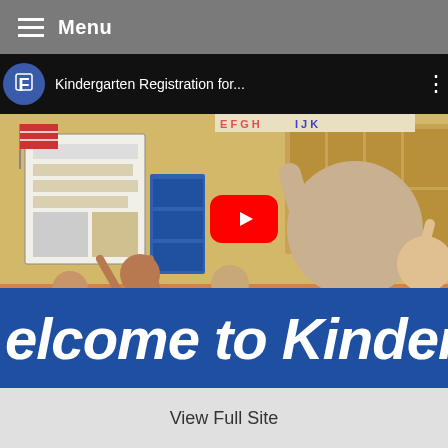Menu
[Figure (screenshot): YouTube video thumbnail showing a kindergarten classroom with children raising their hands. A YouTube play button is overlaid in the center. The video title bar at top reads 'Kindergarten Registration for...' with a school logo. A blue banner at the bottom shows partial text 'elcome to Kinderga' (Welcome to Kindergarten).]
View Full Site